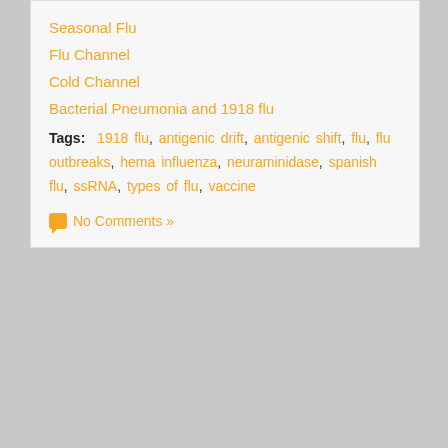Seasonal Flu
Flu Channel
Cold Channel
Bacterial Pneumonia and 1918 flu
Tags: 1918 flu, antigenic drift, antigenic shift, flu, flu outbreaks, hema..., influenza, neuraminidase, spanish flu, ssRNA, types of flu, vaccine
No Comments »